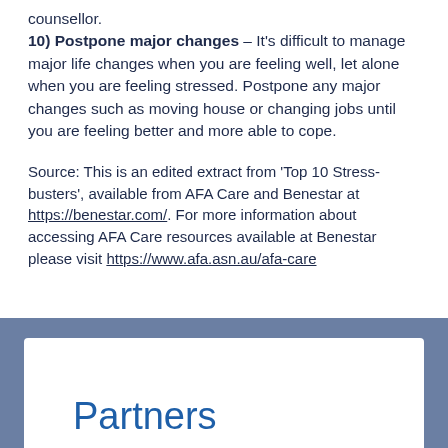counsellor.
10) Postpone major changes – It's difficult to manage major life changes when you are feeling well, let alone when you are feeling stressed. Postpone any major changes such as moving house or changing jobs until you are feeling better and more able to cope.
Source: This is an edited extract from 'Top 10 Stress-busters', available from AFA Care and Benestar at https://benestar.com/. For more information about accessing AFA Care resources available at Benestar please visit https://www.afa.asn.au/afa-care
Partners